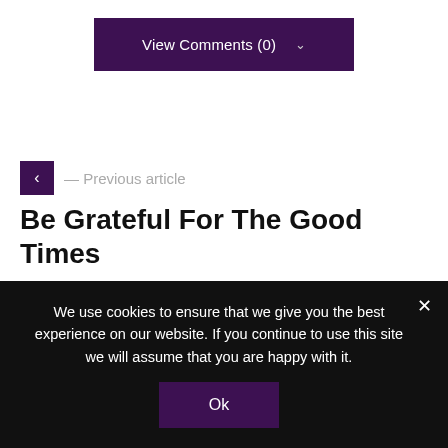View Comments (0) ∨
— Previous article
Be Grateful For The Good Times
Next article —
But it matters to you
We use cookies to ensure that we give you the best experience on our website. If you continue to use this site we will assume that you are happy with it.
Ok